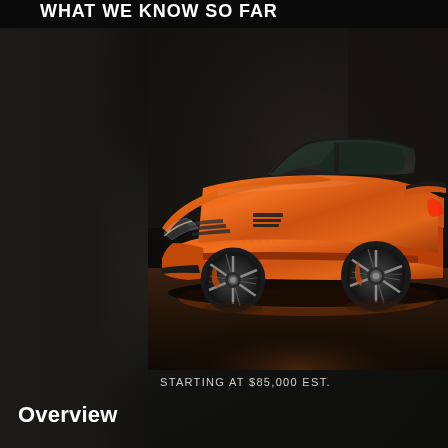What We Know So Far
[Figure (photo): Orange Chevrolet Corvette Z06 sports car photographed in a dark studio setting, three-quarter front view, sitting on a reflective floor with dramatic lighting]
STARTING AT $85,000 EST.
Overview